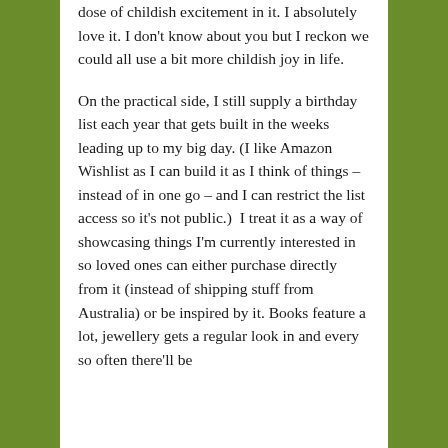dose of childish excitement in it. I absolutely love it. I don't know about you but I reckon we could all use a bit more childish joy in life.
On the practical side, I still supply a birthday list each year that gets built in the weeks leading up to my big day. (I like Amazon Wishlist as I can build it as I think of things – instead of in one go – and I can restrict the list access so it's not public.)  I treat it as a way of showcasing things I'm currently interested in so loved ones can either purchase directly from it (instead of shipping stuff from Australia) or be inspired by it. Books feature a lot, jewellery gets a regular look in and every so often there'll be